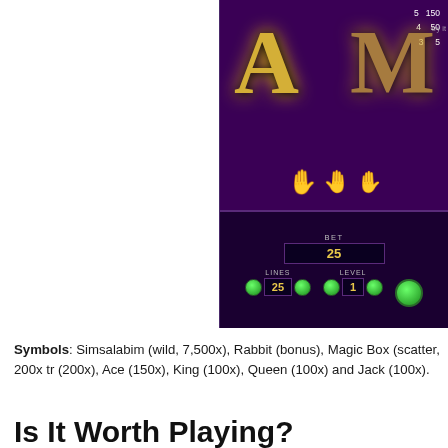[Figure (screenshot): Slot machine game screenshot showing Simsalabim slot with golden A symbol, hand pointer icons, and control panel with BET 25, LINES 25, LEVEL 1]
Symbols: Simsalabim (wild, 7,500x), Rabbit (bonus), Magic Box (scatter, 200x tr... (200x), Ace (150x), King (100x), Queen (100x) and Jack (100x).
Is It Worth Playing?
The design of Simsalabim should be a good enough reason to try it out, espec... during the base game, though if the free spins multiplier gets involved it gets eve...
This Simsalabim slot is offered by all online casinos with Net Entertainment softw...
RECENT POSTS
2016 January Slots Wins Through The Roof

SLOTS BY MAKER
RTG
Microgaming